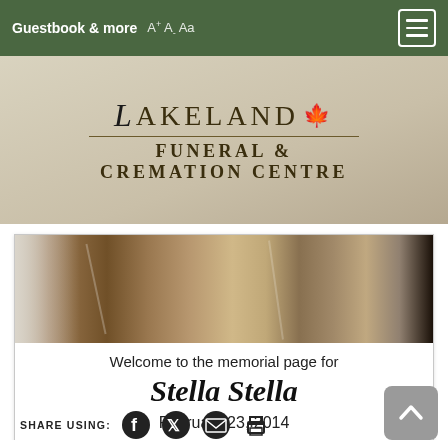Guestbook & more
[Figure (logo): Lakeland Funeral & Cremation Centre logo with maple leaf on textured beige background]
[Figure (photo): Sepia-toned strip of old photographs arranged as a banner]
Welcome to the memorial page for
Stella Stella
February 23, 2014
SHARE USING: